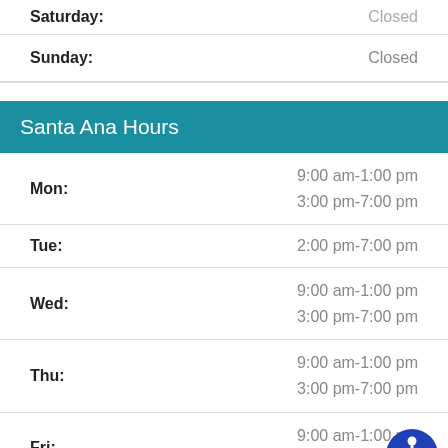| Day | Hours |
| --- | --- |
| Saturday: | Closed |
| Sunday: | Closed |
Santa Ana Hours
| Day | Hours |
| --- | --- |
| Mon: | 9:00 am-1:00 pm
3:00 pm-7:00 pm |
| Tue: | 2:00 pm-7:00 pm |
| Wed: | 9:00 am-1:00 pm
3:00 pm-7:00 pm |
| Thu: | 9:00 am-1:00 pm
3:00 pm-7:00 pm |
| Fri: | 9:00 am-1:00 pm
3:00 pm-6:00 pm |